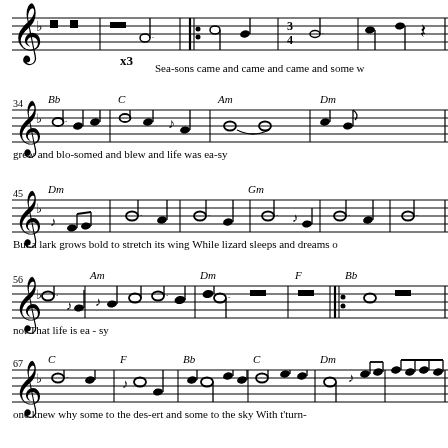[Figure (illustration): Sheet music page showing four systems of musical notation in treble clef with one flat key signature. Systems start at measures approximately 34, 45, 56, and 67. Includes chord symbols (Bb, C, Am, Dm, Gm, F), lyrics below each staff, and music notation. Lyrics include: 'grew and blo-somed and blew and life was ea-sy', 'But a lark grows bold to stretch its wing While lizard sleeps and dreams o...', 'not That life is ea-sy', 'one knew why some to the des-ert and some to the sky With t'turn-'. Top of page shows end of previous system with 'x3' marking and partial lyric 'Sea-sons came and came and came and some w...']